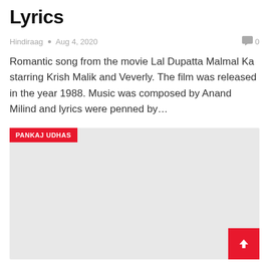Lyrics
Hindiraag  •  Aug 4, 2020   💬 0
Romantic song from the movie Lal Dupatta Malmal Ka starring Krish Malik and Veverly. The film was released in the year 1988. Music was composed by Anand Milind and lyrics were penned by…
[Figure (other): Gray placeholder image block with a red tag label reading PANKAJ UDHAS in the top-left corner]
PANKAJ UDHAS